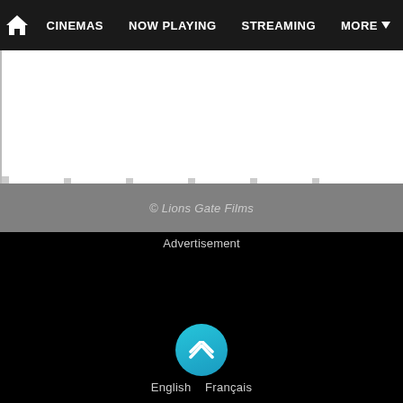Home | CINEMAS | NOW PLAYING | STREAMING | MORE
[Figure (screenshot): White content area with left border, partially visible chart or image content]
© Lions Gate Films
Advertisement
[Figure (screenshot): Black advertisement area]
English | Français